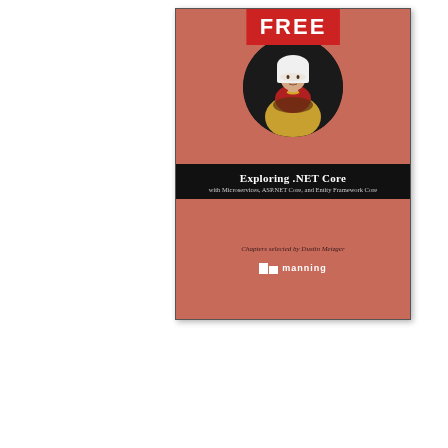[Figure (illustration): Book cover for 'Exploring .NET Core with Microservices, ASP.NET Core, and Entity Framework Core' published by Manning. The cover features a salmon/terracotta red background, a 'FREE' stamp in red at the top, a circular black medallion containing an illustrated portrait of a woman in traditional costume with white headwear and colorful dress. Below is a black banner with the book title and subtitle in white text. The lower portion shows 'Chapters selected by Dustin Metzger' in italic and the Manning publisher logo.]